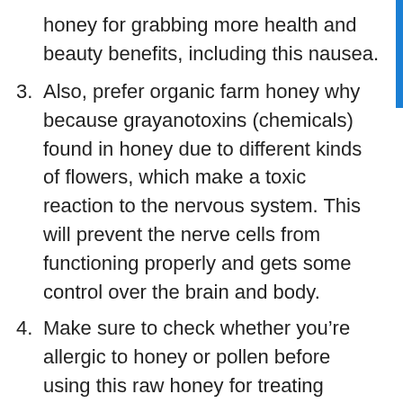honey for grabbing more health and beauty benefits, including this nausea.
3. Also, prefer organic farm honey why because grayanotoxins (chemicals) found in honey due to different kinds of flowers, which make a toxic reaction to the nervous system. This will prevent the nerve cells from functioning properly and gets some control over the brain and body.
4. Make sure to check whether you’re allergic to honey or pollen before using this raw honey for treating nausea. Never ever give honey to your babies under 1 year, as they may be at a risk of infant botulism.
5. Consult your doctor for treating your